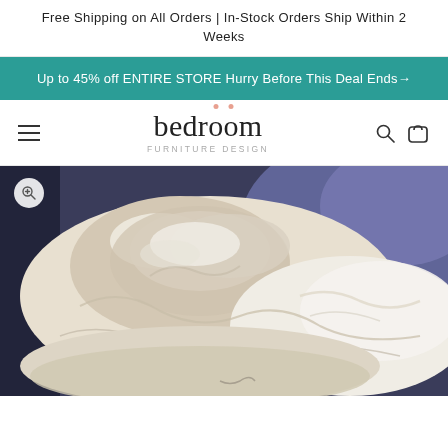Free Shipping on All Orders | In-Stock Orders Ship Within 2 Weeks
Up to 45% off ENTIRE STORE Hurry Before This Deal Ends→
[Figure (logo): Bedroom Furniture Design logo with two salmon-colored dots above the double-o letters]
[Figure (photo): Close-up photo of a bundled white/cream satin or silk duvet/comforter on a bed with dark blue/purple bedding in background. A zoom icon is visible in the top-left corner of the image.]